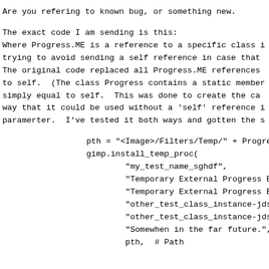Are you refering to known bug, or something new.
The exact code I am sending is this:
Where Progress.ME is a reference to a specific class i
trying to avoid sending a self reference in case that
The original code replaced all Progress.ME references
to self.  (The class Progress contains a static member
simply equal to self.  This was done to create the ca
way that it could be used without a 'self' reference i
paramerter.  I've tested it both ways and gotten the s
pth = "<Image>/Filters/Temp/" + Progress.M
    gimp.install_temp_proc(
            "my_test_name_sghdf",
            "Temporary External Progress Bar Handl
            "Temporary External Progress Bar Handl
            "other_test_class_instance-jdsfg",  #
            "other_test_class_instance-jdsfg",  #
            "Somewhen in the far future.",  # Date
            pth,  # Path